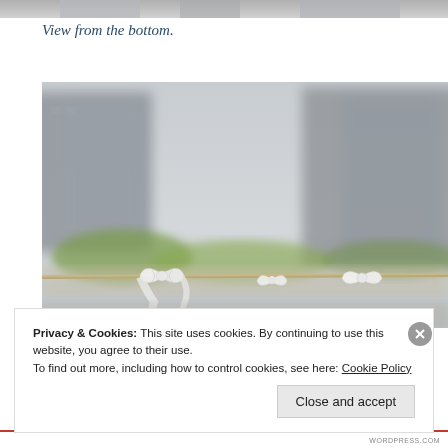[Figure (photo): Partial top edge of a photo showing blurred urban/architectural content]
View from the bottom.
[Figure (photo): Photograph of a rope with white fabric ties or bows attached, with blurred city buildings and greenery in the background]
Privacy & Cookies: This site uses cookies. By continuing to use this website, you agree to their use.
To find out more, including how to control cookies, see here: Cookie Policy
Close and accept